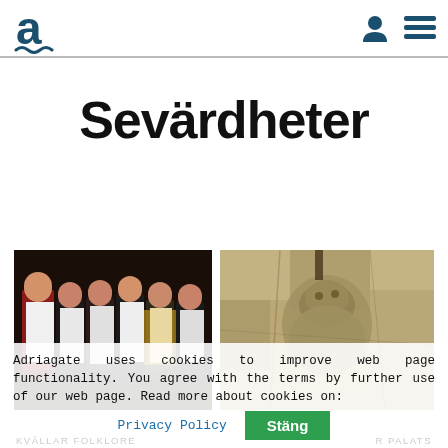Adriagate logo and navigation
Sevärdheter
[Figure (photo): Group of people in traditional folk costumes standing together]
[Figure (photo): Stone carving or relief sculpture on a stone wall]
Adriagate uses cookies to improve web page functionality. You agree with the terms by further use of our web page. Read more about cookies on:
Privacy Policy
Stäng
KVÄLLAR FOLKLORE
R PALATS